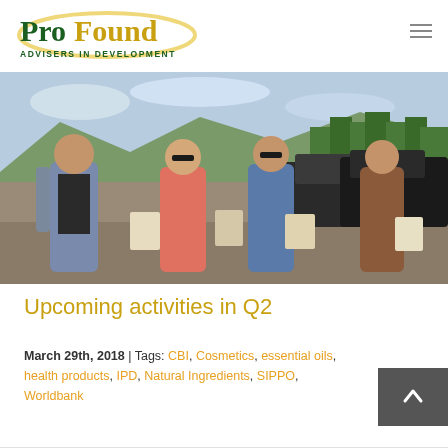ProFound Advisers In Development
[Figure (photo): Four people standing outdoors on a hillside road, writing in notebooks. Mountains and green trees visible in background. Two vehicles parked behind them. Three women and one man.]
Upcoming activities in Q2
March 29th, 2018  |  Tags: CBI, Cosmetics, essential oils, health products, IPD, Natural Ingredients, SIPPO, Worldbank